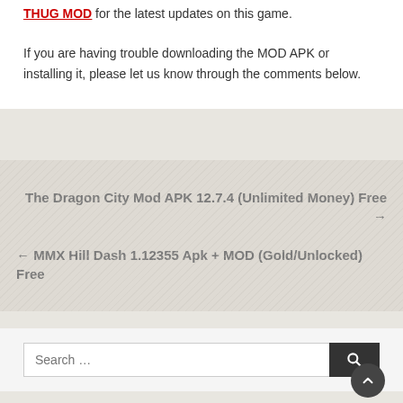latest version of this MOD APK directly from this page, which will allow you to play this game without restrictions. Keep visiting our THUG MOD for the latest updates on this game.
If you are having trouble downloading the MOD APK or installing it, please let us know through the comments below.
The Dragon City Mod APK 12.7.4 (Unlimited Money) Free →
← MMX Hill Dash 1.12355 Apk + MOD (Gold/Unlocked) Free